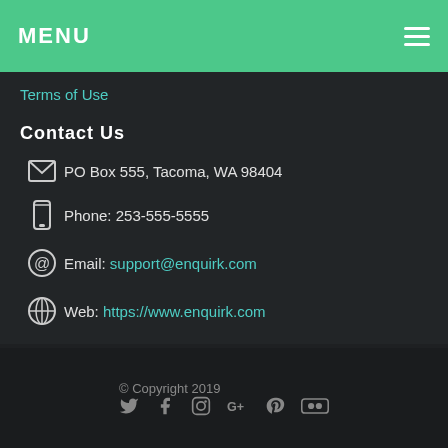MENU
Terms of Use
Contact Us
PO Box 555, Tacoma, WA 98404
Phone: 253-555-5555
Email: support@enquirk.com
Web: https://www.enquirk.com
© Copyright 2019